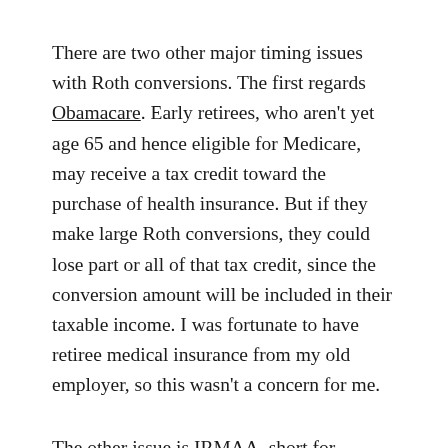There are two other major timing issues with Roth conversions. The first regards Obamacare. Early retirees, who aren't yet age 65 and hence eligible for Medicare, may receive a tax credit toward the purchase of health insurance. But if they make large Roth conversions, they could lose part or all of that tax credit, since the conversion amount will be included in their taxable income. I was fortunate to have retiree medical insurance from my old employer, so this wasn't a concern for me.
The other issue is IRMAA, short for income-related monthly adjustment amount. IRMAA is the Medicare premium surcharge that hits